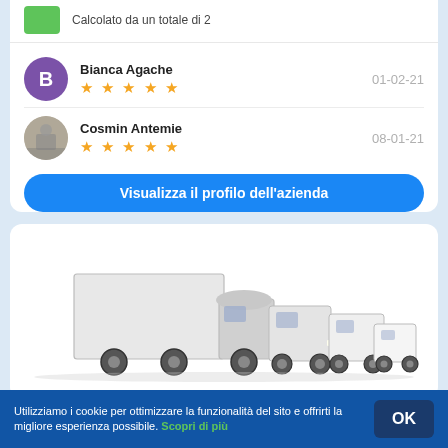Calcolato da un totale di 2
Bianca Agache ★★★★★ 01-02-21
Cosmin Antemie ★★★★★ 08-01-21
Visualizza il profilo dell'azienda
[Figure (photo): Fleet of white moving trucks and vans of various sizes lined up]
Utilizziamo i cookie per ottimizzare la funzionalità del sito e offrirti la migliore esperienza possibile. Scopri di più  OK